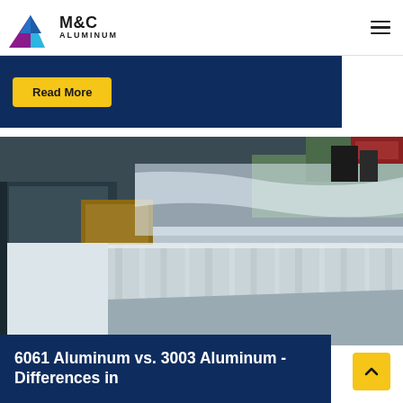M&C ALUMINUM
Read More
[Figure (photo): Aluminum sheets stacked and wrapped in plastic packaging, photographed in an industrial warehouse setting with green floor visible in background]
6061 Aluminum vs. 3003 Aluminum - Differences in